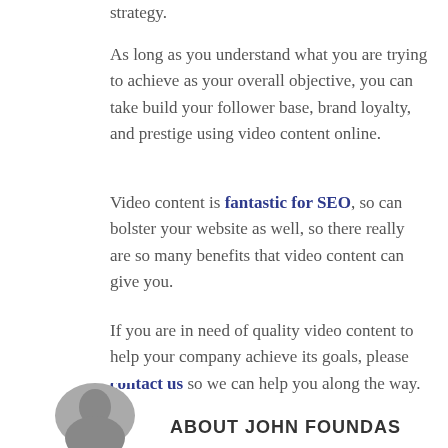strategy.
As long as you understand what you are trying to achieve as your overall objective, you can take build your follower base, brand loyalty, and prestige using video content online.
Video content is fantastic for SEO, so can bolster your website as well, so there really are so many benefits that video content can give you.
If you are in need of quality video content to help your company achieve its goals, please contact us so we can help you along the way.
ABOUT JOHN FOUNDAS
[Figure (photo): Black and white circular cropped photo of John Foundas, a man, visible from shoulders up]